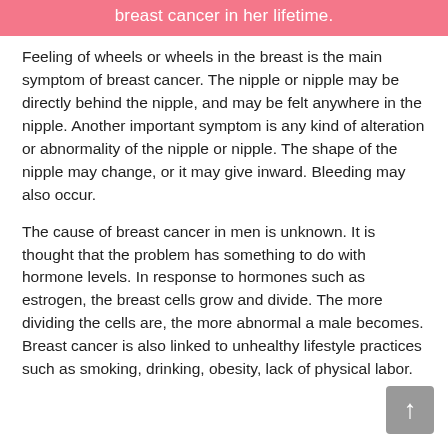[Figure (other): Pink banner with white text reading 'breast cancer in her lifetime.']
Feeling of wheels or wheels in the breast is the main symptom of breast cancer. The nipple or nipple may be directly behind the nipple, and may be felt anywhere in the nipple. Another important symptom is any kind of alteration or abnormality of the nipple or nipple. The shape of the nipple may change, or it may give inward. Bleeding may also occur.
The cause of breast cancer in men is unknown. It is thought that the problem has something to do with hormone levels. In response to hormones such as estrogen, the breast cells grow and divide. The more dividing the cells are, the more abnormal a male becomes. Breast cancer is also linked to unhealthy lifestyle practices such as smoking, drinking, obesity, lack of physical labor.